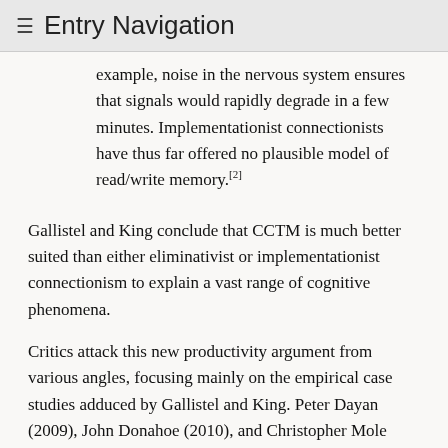≡ Entry Navigation
example, noise in the nervous system ensures that signals would rapidly degrade in a few minutes. Implementationist connectionists have thus far offered no plausible model of read/write memory.[2]
Gallistel and King conclude that CCTM is much better suited than either eliminativist or implementationist connectionism to explain a vast range of cognitive phenomena.
Critics attack this new productivity argument from various angles, focusing mainly on the empirical case studies adduced by Gallistel and King. Peter Dayan (2009), John Donahoe (2010), and Christopher Mole (2014) argue that biologically plausible neural network models can accommodate at least some of the case studies. Dayan and Donahoe argue that empirically adequate neural network models can dispense with anything resembling read/write memory. Mole argues that, in certain cases, empirically adequate neural network models can implement the read/write memory